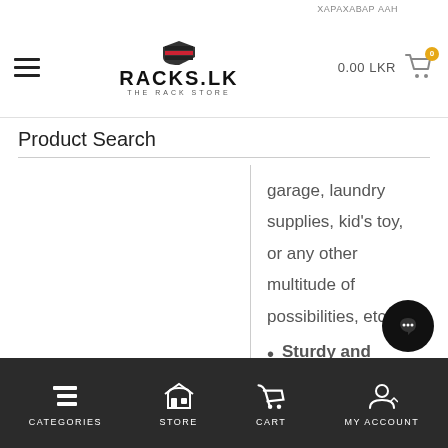RACKS.LK — THE RACK STORE | 0.00 LKR | Cart
Product Search
garage, laundry supplies, kid's toy, or any other multitude of possibilities, etc.
Sturdy and Durable – The craft cart is made of 100% all steel, the maximum loading capacit...
CATEGORIES | STORE | CART | MY ACCOUNT